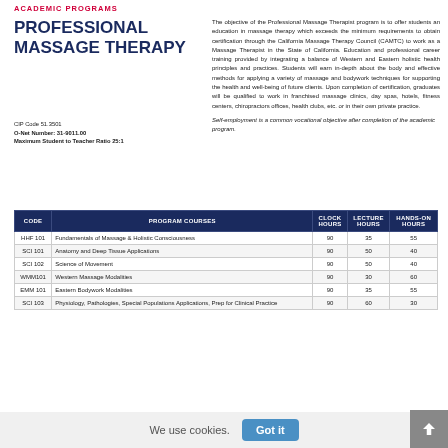ACADEMIC PROGRAMS
PROFESSIONAL MASSAGE THERAPY
CIP Code 51.3501
O-Net Number: 31-9011.00
Maximum Student to Teacher Ratio 25:1
The objective of the Professional Massage Therapist program is to offer students an education in massage therapy which exceeds the minimum requirements to obtain certification through the California Massage Therapy Council (CAMTC) to work as a Massage Therapist in the State of California. Education and professional career training provided by integrating a balance of Western and Eastern holistic health principles and practices. Students will earn in-depth about the body and effective methods for applying a variety of massage and bodywork techniques for supporting the health and well-being of future clients. Upon completion of certification, graduates will be qualified to work in franchised massage clinics, day spas, hotels, fitness centers, chiropractors offices, health clubs, etc. or in their own private practice.
Self-employment is a common vocational objective after completion of the academic program.
| CODE | PROGRAM COURSES | CLOCK HOURS | LECTURE HOURS | HANDS-ON HOURS |
| --- | --- | --- | --- | --- |
| HHF 101 | Fundamentals of Massage & Holistic Consciousness | 90 | 35 | 55 |
| SCI 101 | Anatomy and Deep Tissue Applications | 90 | 50 | 40 |
| SCI 102 | Science of Movement | 90 | 50 | 40 |
| WMM101 | Western Massage Modalities | 90 | 30 | 60 |
| EMM 101 | Eastern Bodywork Modalities | 90 | 35 | 55 |
| SCI 103 | Physiology, Pathologies, Special Populations Applications, Prep for Clinical Practice | 90 | 60 | 30 |